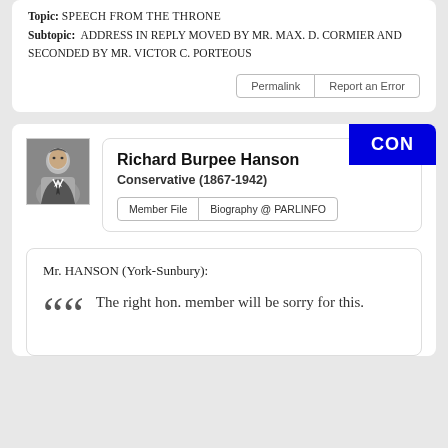Topic: SPEECH FROM THE THRONE
Subtopic: ADDRESS IN REPLY MOVED BY MR. MAX. D. CORMIER AND SECONDED BY MR. VICTOR C. PORTEOUS
Permalink | Report an Error
CON
Richard Burpee Hanson
Conservative (1867-1942)
Member File | Biography @ PARLINFO
Mr. HANSON (York-Sunbury):

The right hon. member will be sorry for this.